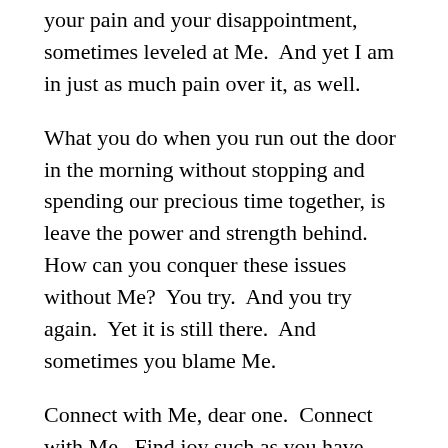your pain and your disappointment, sometimes leveled at Me.  And yet I am in just as much pain over it, as well.
What you do when you run out the door in the morning without stopping and spending our precious time together, is leave the power and strength behind.  How can you conquer these issues without Me?  You try.  And you try again.  Yet it is still there.  And sometimes you blame Me.
Connect with Me, dear one.  Connect with Me.  Find joy such as you have never known. You will find that you will be more in tune with Me, learning to trust the outcome of a situation no matter what.